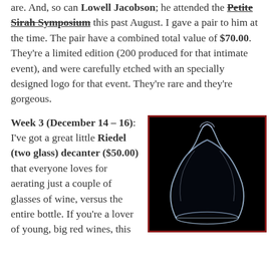are. And, so can Lowell Jacobson; he attended the Petite Sirah Symposium this past August. I gave a pair to him at the time. The pair have a combined total value of $70.00. They're a limited edition (200 produced for that intimate event), and were carefully etched with an specially designed logo for that event. They're rare and they're gorgeous.
Week 3 (December 14 – 16): I've got a great little Riedel (two glass) decanter ($50.00) that everyone loves for aerating just a couple of glasses of wine, versus the entire bottle. If you're a lover of young, big red wines, this
[Figure (photo): A Riedel glass decanter photographed against a black background with a dark red border. The decanter is clear glass with a wide base, tapering neck, and flared top opening.]